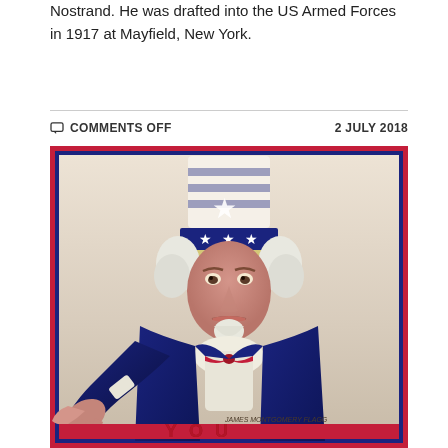Nostrand. He was drafted into the US Armed Forces in 1917 at Mayfield, New York.
COMMENTS OFF   2 JULY 2018
[Figure (illustration): Classic 'I Want YOU' Uncle Sam recruitment poster showing Uncle Sam in a star-spangled top hat pointing directly at the viewer, wearing a dark navy jacket with red bow tie. The bottom of the image shows the beginning of text 'YOU' in large red letters. Artist signature visible at bottom right: James Montgomery Flagg.]